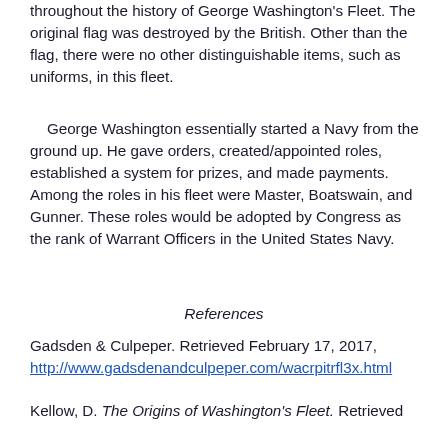throughout the history of George Washington's Fleet. The original flag was destroyed by the British. Other than the flag, there were no other distinguishable items, such as uniforms, in this fleet.
George Washington essentially started a Navy from the ground up. He gave orders, created/appointed roles, established a system for prizes, and made payments. Among the roles in his fleet were Master, Boatswain, and Gunner. These roles would be adopted by Congress as the rank of Warrant Officers in the United States Navy.
References
Gadsden & Culpeper. Retrieved February 17, 2017, http://www.gadsdenandculpeper.com/wacrpitrfl3x.html
Kellow, D. The Origins of Washington's Fleet. Retrieved